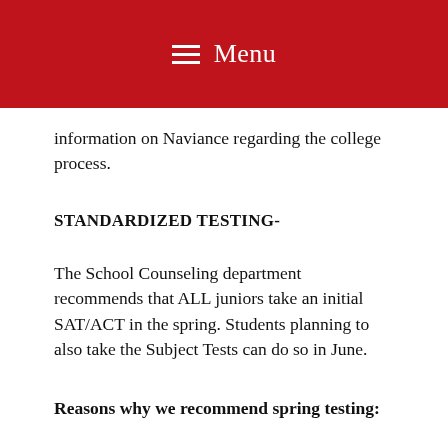Menu
information on Naviance regarding the college process.
STANDARDIZED TESTING-
The School Counseling department recommends that ALL juniors take an initial SAT/ACT in the spring. Students planning to also take the Subject Tests can do so in June.
Reasons why we recommend spring testing: